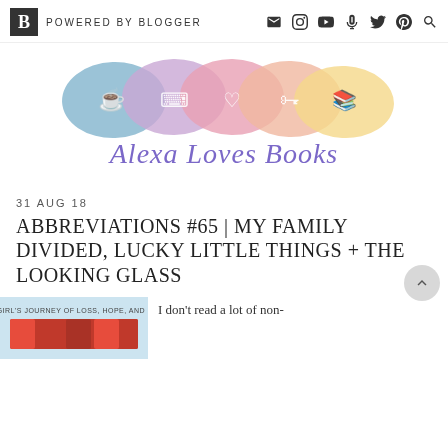POWERED BY BLOGGER
[Figure (logo): Alexa Loves Books blog logo with rainbow watercolor brushstrokes and white icons (coffee, typewriter, heart, treasure chest, books), with cursive text 'Alexa Loves Books' in purple and gold]
31 AUG 18
ABBREVIATIONS #65 | MY FAMILY DIVIDED, LUCKY LITTLE THINGS + THE LOOKING GLASS
[Figure (photo): Book cover thumbnail with text 'ONE GIRL'S JOURNEY OF LOSS, HOPE, AND HOME']
I don't read a lot of non-